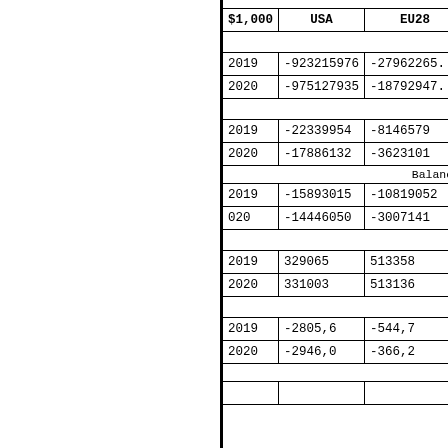| $,1000 | USA | EU28 |
| --- | --- | --- |
| 2019 | -923215976 | -279622652... |
| 2020 | -975127935 | -187929472... |
| 2019 | -22339954 | -8146579 |
| 2020 | -17886132 | -3623101 |
| Balance |  |  |
| 2019 | -15893015 | -10819052 |
| 020 | -14446050 | -3007141 |
| 2019 | 329065 | 513358 |
| 2020 | 331003 | 513136 |
| 2019 | -2805,6 | -544,7 |
| 2020 | -2946,0 | -366,2 |
| B |  |  |